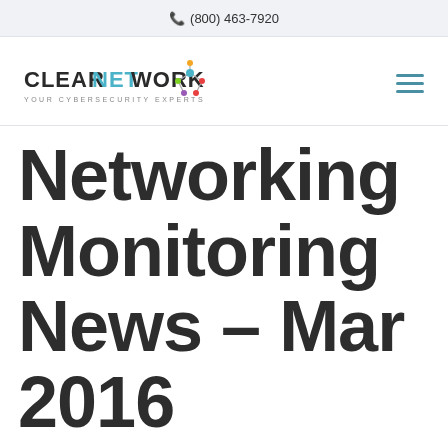(800) 463-7920
[Figure (logo): ClearNetwork logo with network node graphic and tagline YOUR CYBERSECURITY EXPERTS]
Networking Monitoring News – Mar 2016